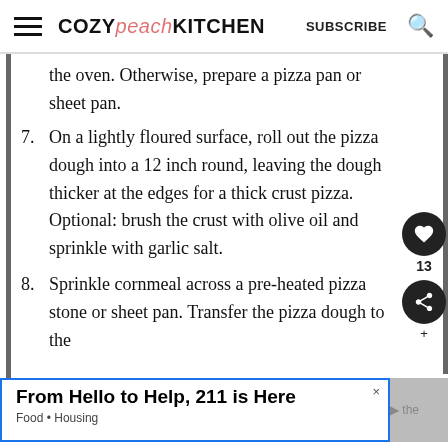COZY peach KITCHEN   SUBSCRIBE
the oven. Otherwise, prepare a pizza pan or sheet pan.
7. On a lightly floured surface, roll out the pizza dough into a 12 inch round, leaving the dough thicker at the edges for a thick crust pizza. Optional: brush the crust with olive oil and sprinkle with garlic salt.
8. Sprinkle cornmeal across a pre-heated pizza stone or sheet pan. Transfer the pizza dough to the
From Hello to Help, 211 is Here
Food • Housing